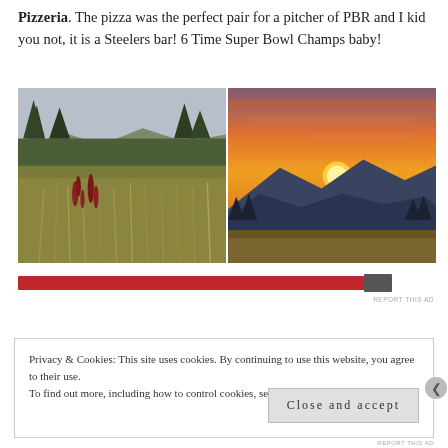Pizzeria. The pizza was the perfect pair for a pitcher of PBR and I kid you not, it is a Steelers bar! 6 Time Super Bowl Champs baby!
[Figure (photo): Two side-by-side outdoor photos. Left: a meadow with tall wild grasses and red wildflowers in the foreground, pine trees and mountains in the background under a hazy sky. Right: a dramatic orange and red sunset over mountain silhouettes with trees.]
Privacy & Cookies: This site uses cookies. By continuing to use this website, you agree to their use.
To find out more, including how to control cookies, see here: Cookie Policy
Close and accept